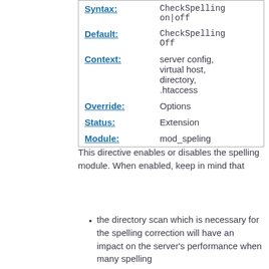| Label | Value |
| --- | --- |
| Syntax: | CheckSpelling on|off |
| Default: | CheckSpelling Off |
| Context: | server config, virtual host, directory, .htaccess |
| Override: | Options |
| Status: | Extension |
| Module: | mod_speling |
This directive enables or disables the spelling module. When enabled, keep in mind that
the directory scan which is necessary for the spelling correction will have an impact on the server's performance when many spelling